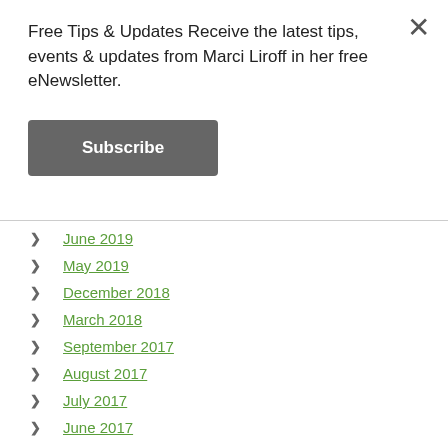Free Tips & Updates Receive the latest tips, events & updates from Marci Liroff in her free eNewsletter.
Subscribe
June 2019
May 2019
December 2018
March 2018
September 2017
August 2017
July 2017
June 2017
May 2017
April 2017
March 2017
February 2017
January 2017